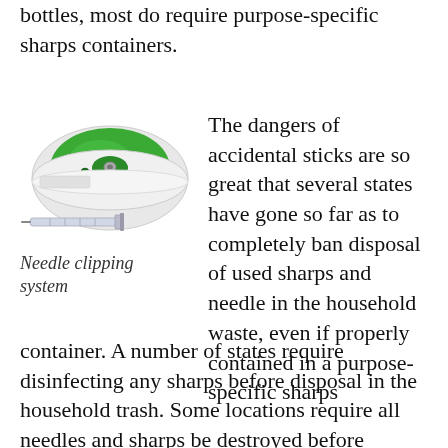bottles, most do require purpose-specific sharps containers.
[Figure (photo): A needle clipping system device — a white and green disk-shaped container for clipping and storing used needles, with a syringe shown next to it.]
Needle clipping system
The dangers of accidental sticks are so great that several states have gone so far as to completely ban disposal of used sharps and needle in the household waste, even if properly contained in a purpose-specific sharps container.  A number of states require disinfecting any sharps before disposal in the household trash.  Some locations require all needles and sharps be destroyed before disposal.  This can be with the use of an at-home needle disposer, or type of Purpose-